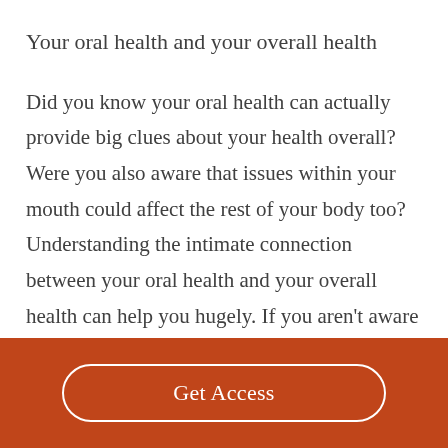Your oral health and your overall health
Did you know your oral health can actually provide big clues about your health overall? Were you also aware that issues within your mouth could affect the rest of your body too? Understanding the intimate connection between your oral health and your overall health can help you hugely. If you aren't aware of the links
Get Access